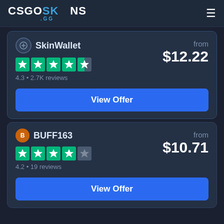CSGOSKINS .GG
SkinWallet
4.3 • 2.7K reviews
from $12.22
View Offer
BUFF163
4.2 • 19 reviews
from $10.71
View Offer